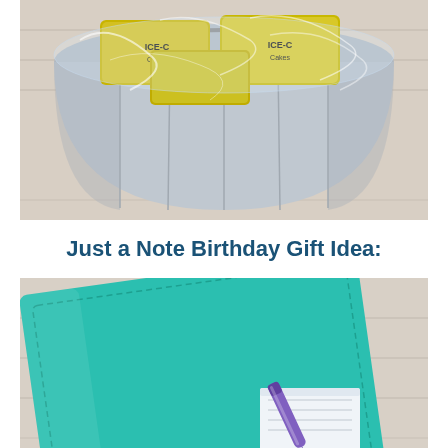[Figure (photo): A galvanized metal bucket filled with yellow-wrapped items (snack cakes or cleaning products) covered in clear plastic wrap, photographed from above on a light wood background.]
Just a Note Birthday Gift Idea:
[Figure (photo): A teal/turquoise leatherette notebook or journal with stitched edges, accompanied by a purple pen and a small notepad or card, photographed on a light wood background.]